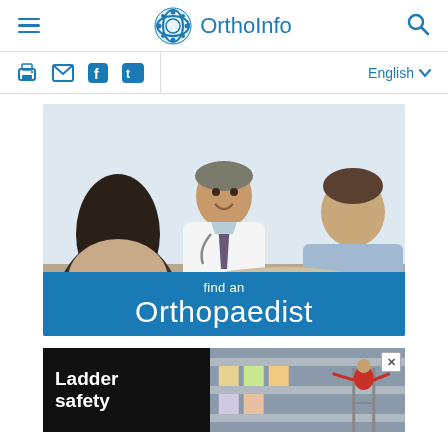OrthoInfo
[Figure (screenshot): OrthoInfo website header with hamburger menu, OrthoInfo logo (blue sphere), and search icon]
[Figure (photo): A smiling doctor in a white coat consulting with two patients across a desk]
find an Orthopaedist
[Figure (photo): Advertisement banner: black left half with text 'Ladder safety' in white bold, right half showing a person on a ladder near shelving]